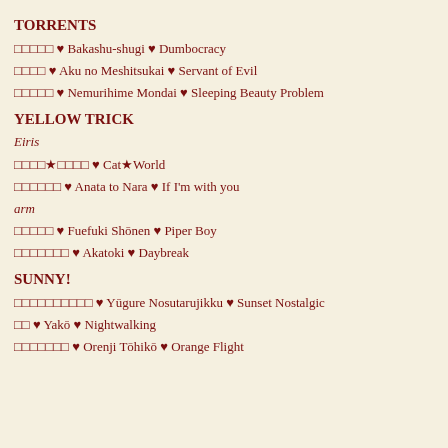TORRENTS
□□□□□ ♥ Bakashu-shugi ♥ Dumbocracy
□□□□ ♥ Aku no Meshitsukai ♥ Servant of Evil
□□□□□ ♥ Nemurihime Mondai ♥ Sleeping Beauty Problem
YELLOW TRICK
Eiris
□□□□★□□□□ ♥ Cat★World
□□□□□□ ♥ Anata to Nara ♥ If I'm with you
arm
□□□□□ ♥ Fuefuki Shōnen ♥ Piper Boy
□□□□□□□ ♥ Akatoki ♥ Daybreak
SUNNY!
□□□□□□□□□□ ♥ Yūgure Nosutarujikku ♥ Sunset Nostalgic
□□ ♥ Yakō ♥ Nightwalking
□□□□□□□ ♥ Orenji Tōhikō ♥ Orange Flight